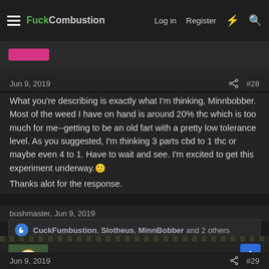FuckCombustion — Log in  Register
Jun 9, 2019  #28
What you're describing is exactly what I'm thinking, Minnbobber. Most of the weed I have on hand is around 20% thc which is too much for me--getting to be an old fart with a pretty low tolerance level. As you suggested, I'm thinking 3 parts cbd to 1 thc or maybe even 4 to 1. Have to wait and see. I'm excited to get this experiment underway.🙂
Thanks alot for the response.
bushmaster, Jun 9, 2019
CuckFumbustion, Slotheus, MinnBobber and 2 others
BabyFacedFinster
Anything worth doing, is worth overdoing.
Jun 9, 2019  #29